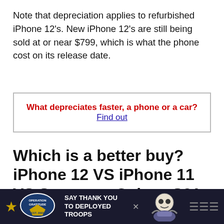Note that depreciation applies to refurbished iPhone 12's. New iPhone 12's are still being sold at or near $799, which is what the phone cost on its release date.
What depreciates faster, a phone or a car? Find out
Which is a better buy? iPhone 12 VS iPhone 11 VS Samsung Galaxy S21
A r... or ap... hed
[Figure (other): Operation Gratitude advertisement banner: 'SAY THANK YOU TO DEPLOYED TROOPS' with logo and mascot character]